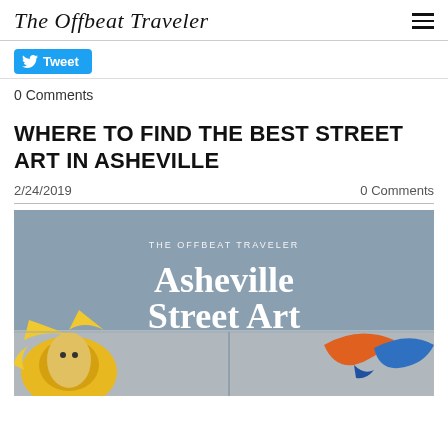The Offbeat Traveler
[Figure (screenshot): Tweet button with Twitter bird icon]
0 Comments
WHERE TO FIND THE BEST STREET ART IN ASHEVILLE
2/24/2019    0 Comments
[Figure (photo): Asheville Street Art promotional image with gray overlay showing colorful murals at the bottom and white text reading 'THE OFFBEAT TRAVELER' then 'Asheville Street Art']